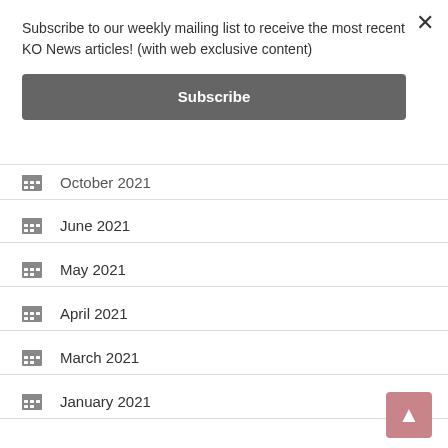Subscribe to our weekly mailing list to receive the most recent KO News articles! (with web exclusive content)
Subscribe
October 2021
June 2021
May 2021
April 2021
March 2021
January 2021
December 2020
November 2020
October 2020